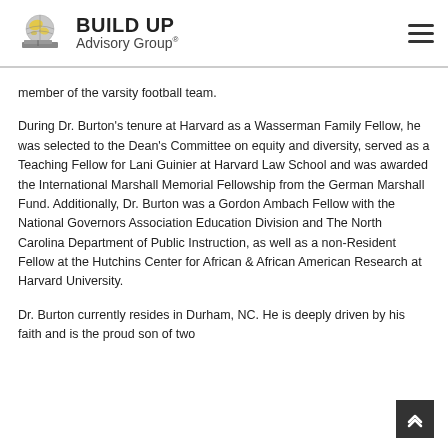BUILD UP Advisory Group®
member of the varsity football team.
During Dr. Burton's tenure at Harvard as a Wasserman Family Fellow, he was selected to the Dean's Committee on equity and diversity, served as a Teaching Fellow for Lani Guinier at Harvard Law School and was awarded the International Marshall Memorial Fellowship from the German Marshall Fund. Additionally, Dr. Burton was a Gordon Ambach Fellow with the National Governors Association Education Division and The North Carolina Department of Public Instruction, as well as a non-Resident Fellow at the Hutchins Center for African & African American Research at Harvard University.
Dr. Burton currently resides in Durham, NC. He is deeply driven by his faith and is the proud son of two